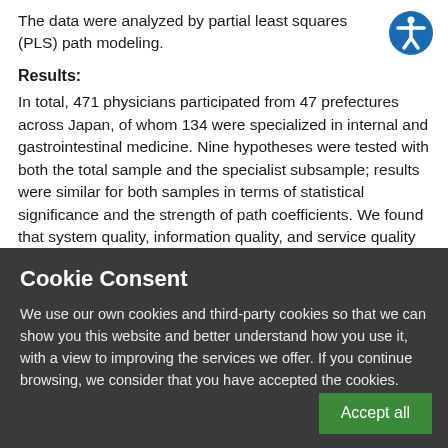The data were analyzed by partial least squares (PLS) path modeling.
Results:
In total, 471 physicians participated from 47 prefectures across Japan, of whom 134 were specialized in internal and gastrointestinal medicine. Nine hypotheses were tested with both the total sample and the specialist subsample; results were similar for both samples in terms of statistical significance and the strength of path coefficients. We found that system quality, information quality, and service quality significantly affect overall
Cookie Consent
We use our own cookies and third-party cookies so that we can show you this website and better understand how you use it, with a view to improving the services we offer. If you continue browsing, we consider that you have accepted the cookies.
Accept all